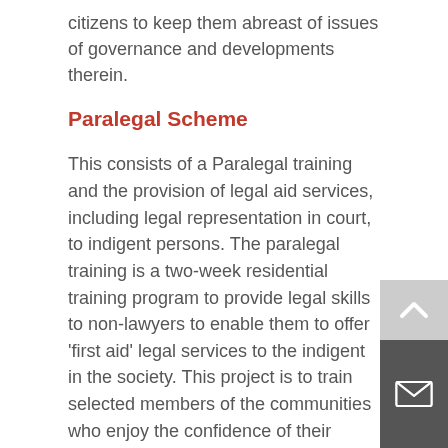citizens to keep them abreast of issues of governance and developments therein.
Paralegal Scheme
This consists of a Paralegal training and the provision of legal aid services, including legal representation in court, to indigent persons. The paralegal training is a two-week residential training program to provide legal skills to non-lawyers to enable them to offer 'first aid' legal services to the indigent in the society. This project is to train selected members of the communities who enjoy the confidence of their communities and build their capacity in the law. They are able to offer legal advice and provide simple legal services such as drafting of affidavits, tenancy agreements and leases. They are available to provide bail services to